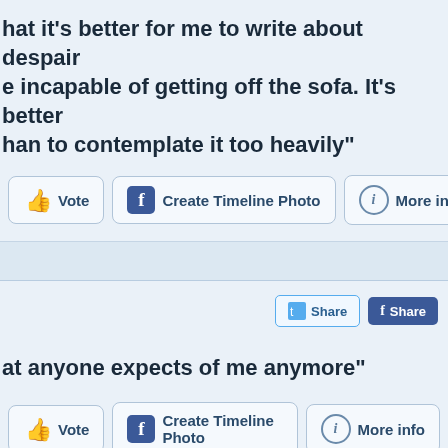hat it's better for me to write about despair e incapable of getting off the sofa. It's better han to contemplate it too heavily"
[Figure (screenshot): Three buttons in a row: Vote (thumbs up icon), Create Timeline Photo (Facebook icon), More info (info icon)]
[Figure (screenshot): Two share buttons: Twitter Share and Facebook Share]
at anyone expects of me anymore"
[Figure (screenshot): Three buttons in a row: Vote (thumbs up icon), Create Timeline Photo (Facebook icon), More info (info icon)]